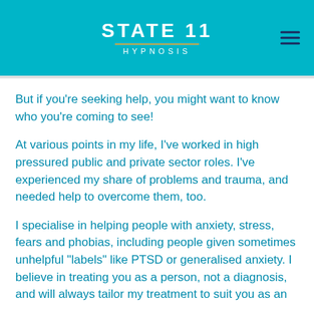STATE 11 HYPNOSIS
But if you're seeking help, you might want to know who you're coming to see!
At various points in my life, I've worked in high pressured public and private sector roles. I've experienced my share of problems and trauma, and needed help to overcome them, too.
I specialise in helping people with anxiety, stress, fears and phobias, including people given sometimes unhelpful "labels" like PTSD or generalised anxiety. I believe in treating you as a person, not a diagnosis, and will always tailor my treatment to suit you as an